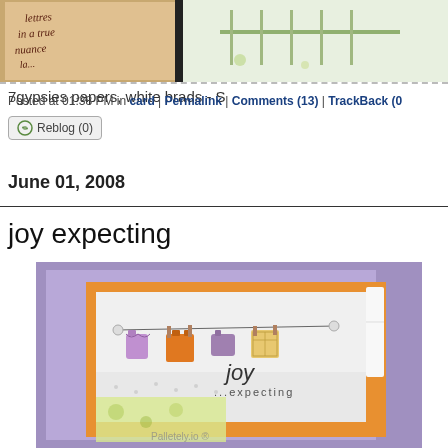[Figure (photo): Top partial image showing a handmade card with cursive text on pink/tan background, and a white fence/chair illustration on right side]
7gypsies papers, white brads - S
Posted at 01:38 PM in card | Permalink | Comments (13) | TrackBack (0)
Reblog (0)
June 01, 2008
joy expecting
[Figure (photo): Handmade greeting card with purple background, orange mat, white embossed card front showing baby clothes on a clothesline and 'joy expecting' text, with yellow patterned paper accents]